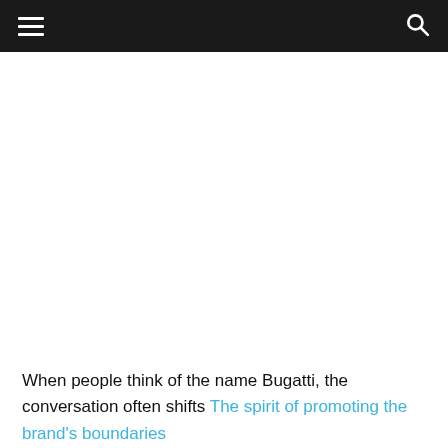☰  🔍
[Figure (photo): Large image area, appears blank/white in this crop — likely a Bugatti automobile photo cropped out of view]
When people think of the name Bugatti, the conversation often shifts The spirit of promoting the brand's boundaries